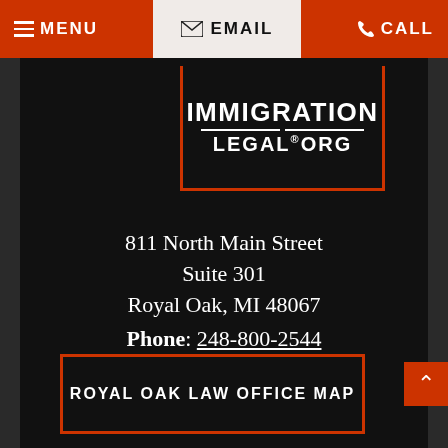≡ MENU   ✉ EMAIL   ☏ CALL
[Figure (logo): ImmigrationLegal.org logo — white bold text on black background with orange border box]
811 North Main Street
Suite 301
Royal Oak, MI 48067
Phone: 248-800-2544
ROYAL OAK LAW OFFICE MAP